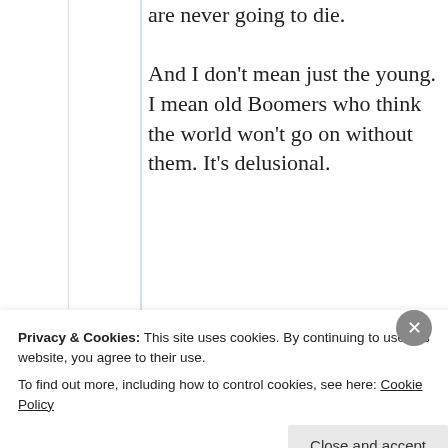are never going to die. And I don't mean just the young. I mean old Boomers who think the world won't go on without them. It's delusional.
★ Liked by 4 people
↪ Reply
Privacy & Cookies: This site uses cookies. By continuing to use this website, you agree to their use. To find out more, including how to control cookies, see here: Cookie Policy
Close and accept